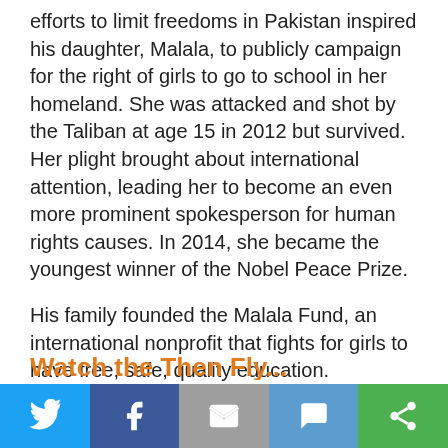efforts to limit freedoms in Pakistan inspired his daughter, Malala, to publicly campaign for the right of girls to go to school in her homeland. She was attacked and shot by the Taliban at age 15 in 2012 but survived. Her plight brought about international attention, leading her to become an even more prominent spokesperson for human rights causes. In 2014, she became the youngest winner of the Nobel Peace Prize.
His family founded the Malala Fund, an international nonprofit that fights for girls to have free, safe, quality education. Yousafzai is the author of Let Her Fly: A Father's Journey.
[Figure (other): Social media sharing buttons: Twitter (blue), Facebook (dark blue), Email (gray), SMS (light blue), Share/copy (green)]